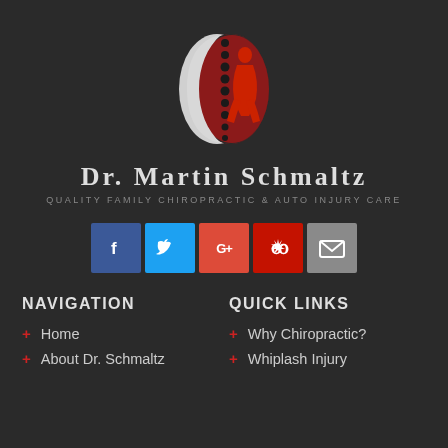[Figure (logo): Chiropractic spine logo — yin-yang style shape with white crescent on left and dark red teardrop with spine dots and human figure silhouette on right]
Dr. Martin Schmaltz
Quality Family Chiropractic & Auto Injury Care
[Figure (infographic): Row of 5 social media icons: Facebook (blue), Twitter (light blue), Google+ (red-orange), Yelp (dark red), Email (gray)]
Navigation
Quick Links
Home
About Dr. Schmaltz
Why Chiropractic?
Whiplash Injury